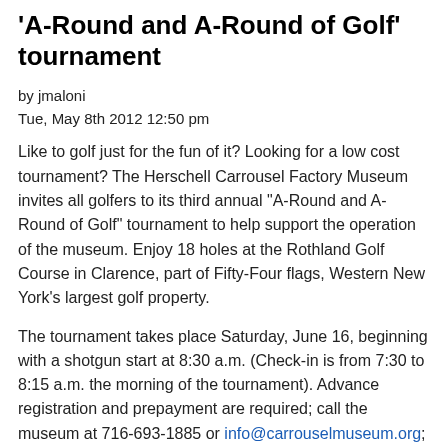'A-Round and A-Round of Golf' tournament
by jmaloni
Tue, May 8th 2012 12:50 pm
Like to golf just for the fun of it? Looking for a low cost tournament? The Herschell Carrousel Factory Museum invites all golfers to its third annual "A-Round and A-Round of Golf" tournament to help support the operation of the museum. Enjoy 18 holes at the Rothland Golf Course in Clarence, part of Fifty-Four flags, Western New York's largest golf property.
The tournament takes place Saturday, June 16, beginning with a shotgun start at 8:30 a.m. (Check-in is from 7:30 to 8:15 a.m. the morning of the tournament). Advance registration and prepayment are required; call the museum at 716-693-1885 or info@carrouselmuseum.org; or download the registration form at www.carrouselmuseum.org. The